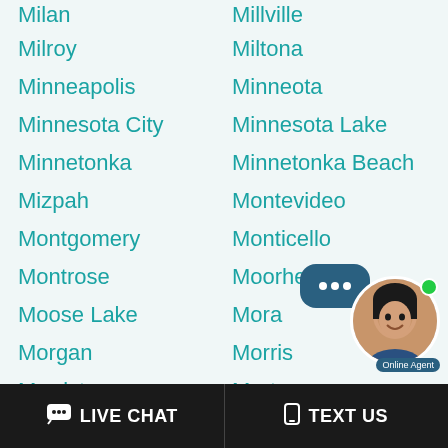Milan
Millville
Milroy
Miltona
Minneapolis
Minneota
Minnesota City
Minnesota Lake
Minnetonka
Minnetonka Beach
Mizpah
Montevideo
Montgomery
Monticello
Montrose
Moorhead
Moose Lake
Mora
Morgan
Morris
Morristown
Morton
Motley
Mound
Mountain Iron
Mountain Lake
[Figure (illustration): Live chat agent widget with speech bubble icon and circular photo of a smiling woman agent, with Online Agent badge and green online dot]
LIVE CHAT   TEXT US